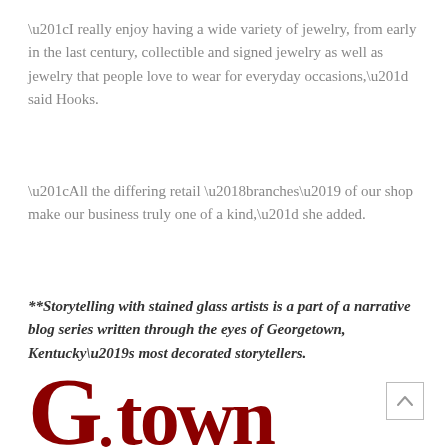“I really enjoy having a wide variety of jewelry, from early in the last century, collectible and signed jewelry as well as jewelry that people love to wear for everyday occasions,” said Hooks.
“All the differing retail ‘branches’ of our shop make our business truly one of a kind,” she added.
**Storytelling with stained glass artists is a part of a narrative blog series written through the eyes of Georgetown, Kentucky’s most decorated storytellers.
[Figure (logo): Partial G-town logo in dark red/maroon color, showing stylized letters at bottom of page]